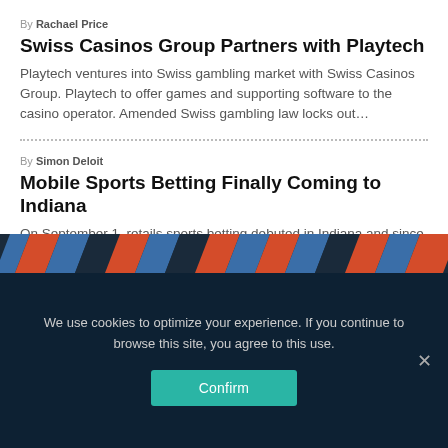By Rachael Price
Swiss Casinos Group Partners with Playtech
Playtech ventures into Swiss gambling market with Swiss Casinos Group. Playtech to offer games and supporting software to the casino operator. Amended Swiss gambling law locks out…
By Simon Deloit
Mobile Sports Betting Finally Coming to Indiana
On September 1, retails sports betting debuted in Indiana and since then a lot of anticipation has built up with regards to mobile sports betting. Well, beginning October 3, sports bettors in Indiana will…
[Figure (illustration): Striped banner with diagonal red, blue and navy stripes]
We use cookies to optimize your experience. If you continue to browse this site, you agree to this use.
Confirm